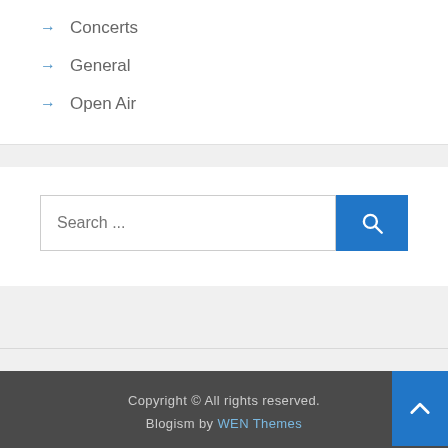→ Concerts
→ General
→ Open Air
[Figure (screenshot): Search bar with text 'Search ...' and a blue search button with magnifying glass icon]
Copyright © All rights reserved. Blogism by WEN Themes